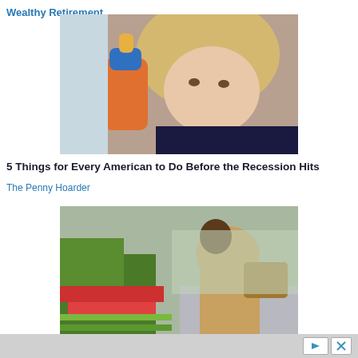Wealthy Retirement
[Figure (photo): Blonde woman holding a baby bottle close to her face, looking concerned]
5 Things for Every American to Do Before the Recession Hits
The Penny Hoarder
[Figure (photo): Person in a tan jacket bending over to look at plants and flowers at an outdoor market or garden center]
Ad controls